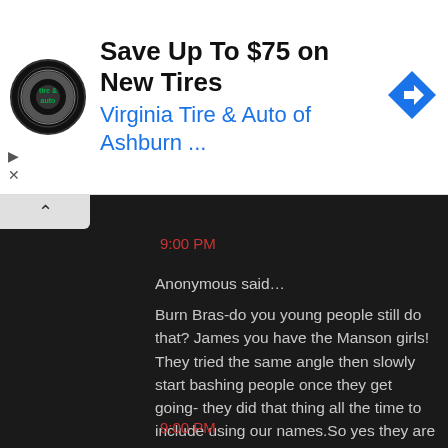[Figure (logo): Virginia Tire & Auto circular logo with tire & auto text]
Save Up To $75 on New Tires
Virginia Tire & Auto of Ashburn ...
[Figure (illustration): Blue diamond navigation arrow icon]
9:00 PM
Anonymous said...
Burn Bras-do you young people still do that? James you have the Manson girls! They tried the same angle then slowly start bashing people once they get going- they did that thing all the time to include using our names.So yes they are here so be aware-there are fewer but Bonnie and Kimmie are easy to uncover as they will blast Virgie and Kim has trouble with words with one syllable she failed third grade recess was too much for her feeble brain!
9:00 PM